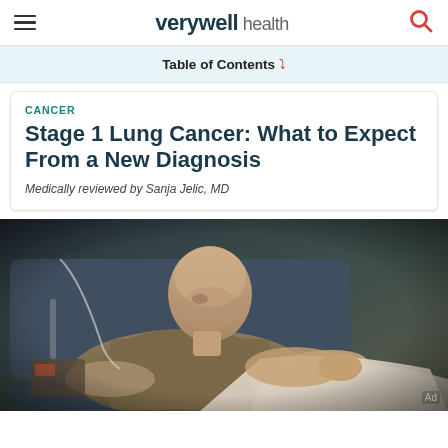verywell health
Table of Contents
CANCER
Stage 1 Lung Cancer: What to Expect From a New Diagnosis
Medically reviewed by Sanja Jelic, MD
[Figure (photo): A bald cancer patient reclining in a medical chair, wearing a tan/olive jacket, with a light-colored blanket over their legs. Medical equipment visible in the background. Dark blue/gray chair and clinical setting.]